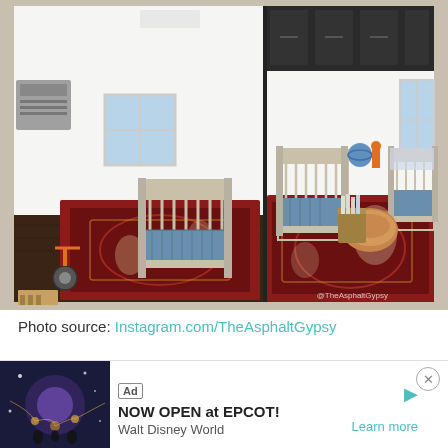[Figure (photo): Two side-by-side photos of baby nursery rooms inside what appears to be a converted bus or RV. Both rooms feature white cribs, a large red Persian-style rug, and dark wood flooring. The left photo shows one crib with a toy scooter and luggage rack, and a window. The right photo shows a wider view with two cribs, a round ottoman, a basket of books, and overhead dark cabinets. A watermark reads '@TheAsphaltGypsy'.]
Photo source: Instagram.com/TheAsphaltGypsy
Here's another cute baby room created in a master bedroom.  I love that this crib has a built-in dresser and changing table.